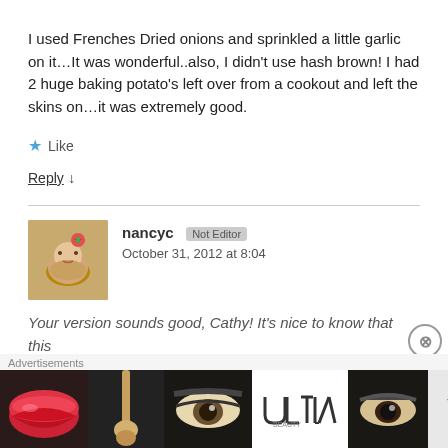I used Frenches Dried onions and sprinkled a little garlic on it...It was wonderful..also, I didn't use hash brown! I had 2 huge baking potato's left over from a cookout and left the skins on...it was extremely good.
★ Like
Reply ↓
nancyc  October 31, 2012 at 8:04
Your version sounds good, Cathy! It's nice to know that this
[Figure (photo): Advertisement banner for ULTA beauty showing lips with red lipstick, makeup brush, eye with brow, ULTA logo, dramatic eye makeup, with SHOP NOW text]